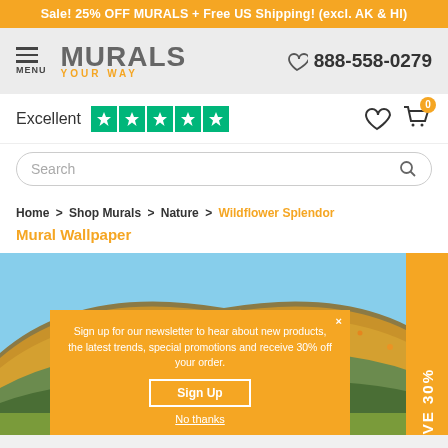Sale! 25% OFF MURALS + Free US Shipping! (excl. AK & HI)
[Figure (logo): Murals Your Way logo with hamburger menu and phone number 888-558-0279]
[Figure (infographic): Trustpilot Excellent 5-star rating, heart icon, shopping cart with badge showing 0]
Search
Home > Shop Murals > Nature > Wildflower Splendor Mural Wallpaper
[Figure (photo): Wildflower Splendor mural wallpaper showing a hill covered in orange wildflowers under a blue sky]
Sign up for our newsletter to hear about new products, the latest trends, special promotions and receive 30% off your order.
Sign Up
No thanks